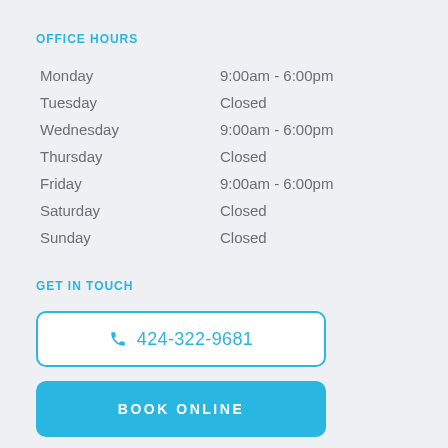OFFICE HOURS
| Day | Hours |
| --- | --- |
| Monday | 9:00am - 6:00pm |
| Tuesday | Closed |
| Wednesday | 9:00am - 6:00pm |
| Thursday | Closed |
| Friday | 9:00am - 6:00pm |
| Saturday | Closed |
| Sunday | Closed |
GET IN TOUCH
424-322-9681
BOOK ONLINE